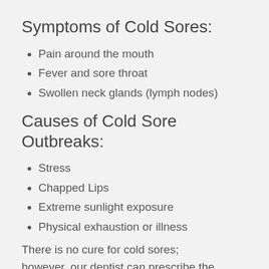Symptoms of Cold Sores:
Pain around the mouth
Fever and sore throat
Swollen neck glands (lymph nodes)
Causes of Cold Sore Outbreaks:
Stress
Chapped Lips
Extreme sunlight exposure
Physical exhaustion or illness
There is no cure for cold sores; however, our dentist can prescribe the